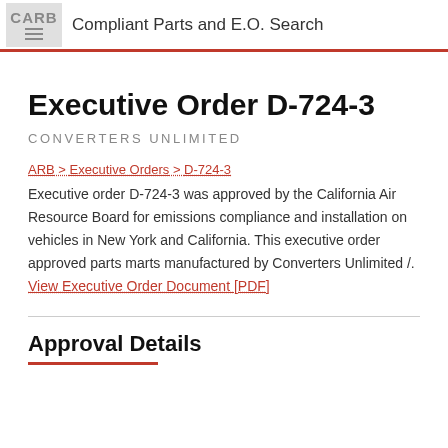CARB Compliant Parts and E.O. Search
Executive Order D-724-3
CONVERTERS UNLIMITED
ARB > Executive Orders > D-724-3
Executive order D-724-3 was approved by the California Air Resource Board for emissions compliance and installation on vehicles in New York and California. This executive order approved parts marts manufactured by Converters Unlimited /.
View Executive Order Document [PDF]
Approval Details